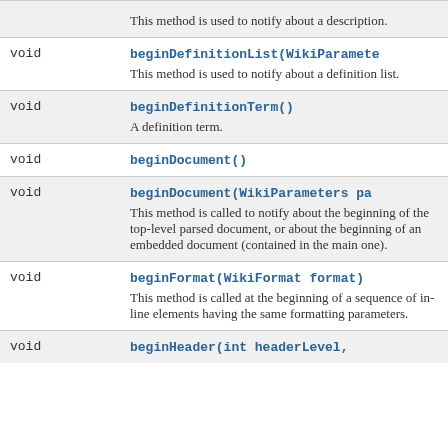| Type | Method and Description |
| --- | --- |
| void | This method is used to notify about a description. |
| void | beginDefinitionList(WikiParameters ...) This method is used to notify about a definition list. |
| void | beginDefinitionTerm() A definition term. |
| void | beginDocument() |
| void | beginDocument(WikiParameters parameters) This method is called to notify about the beginning of the top-level parsed document, or about the beginning of an embedded document (contained in the main one). |
| void | beginFormat(WikiFormat format) This method is called at the beginning of a sequence of in-line elements having the same formatting parameters. |
| void | beginHeader(int headerLevel, |